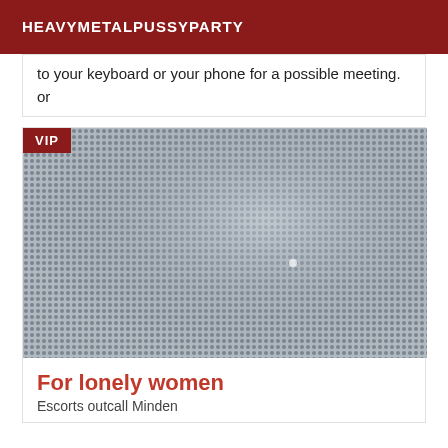HEAVYMETALPUSSYPARTY
to your keyboard or your phone for a possible meeting.
or
[Figure (photo): Close-up photo of a grey woven mesh or fabric texture with a VIP badge in the top-left corner]
For lonely women
Escorts outcall Minden